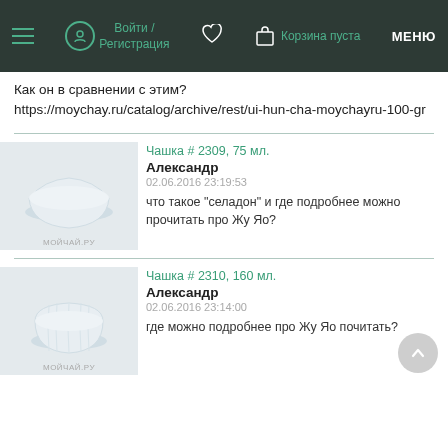Войти / Регистрация  Корзина пуста  МЕНЮ
Как он в сравнении с этим?
https://moychay.ru/catalog/archive/rest/ui-hun-cha-moychayru-100-gr
Чашка # 2309, 75 мл.
Александр
02.06.2016 23:19:53
что такое "селадон" и где подробнее можно прочитать про Жу Яо?
Чашка # 2310, 160 мл.
Александр
02.06.2016 23:14:00
где можно подробнее про Жу Яо почитать?